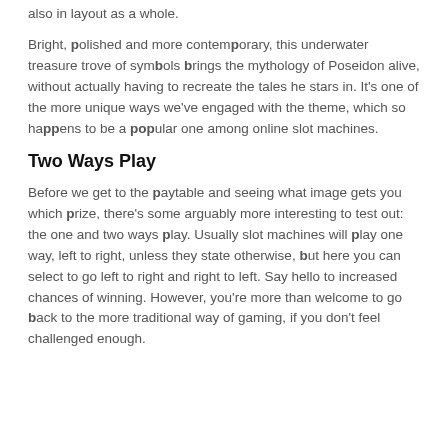also in layout as a whole.
Bright, polished and more contemporary, this underwater treasure trove of symbols brings the mythology of Poseidon alive, without actually having to recreate the tales he stars in. It's one of the more unique ways we've engaged with the theme, which so happens to be a popular one among online slot machines.
Two Ways Play
Before we get to the paytable and seeing what image gets you which prize, there's some arguably more interesting to test out: the one and two ways play. Usually slot machines will play one way, left to right, unless they state otherwise, but here you can select to go left to right and right to left. Say hello to increased chances of winning. However, you're more than welcome to go back to the more traditional way of gaming, if you don't feel challenged enough.